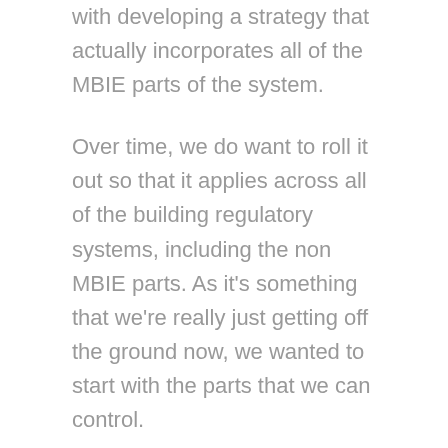with developing a strategy that actually incorporates all of the MBIE parts of the system.
Over time, we do want to roll it out so that it applies across all of the building regulatory systems, including the non MBIE parts. As it's something that we're really just getting off the ground now, we wanted to start with the parts that we can control.
It's really about making sure that all the MBIE parts of the system are pulling in the same direction, and we have already seen